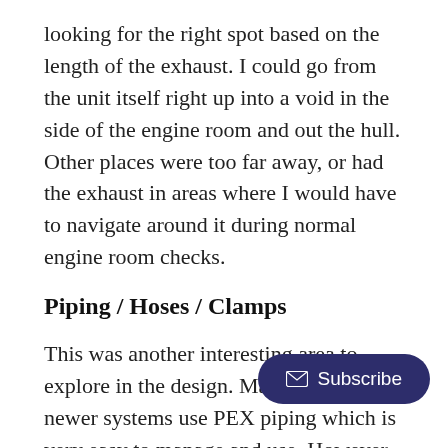looking for the right spot based on the length of the exhaust. I could go from the unit itself right up into a void in the side of the engine room and out the hull. Other places were too far away, or had the exhaust in areas where I would have to navigate around it during normal engine room checks.
Piping / Hoses / Clamps
This was another interesting area to explore in the design. Many of the newer systems use PEX piping which is very easy to manage and use. However, everyone recommended insulating it when going through colder spaces such as engine rooms and near vents. My initial thoughts were because the piping wasn't insulated the system is to create a loop of hot liquid, why would you